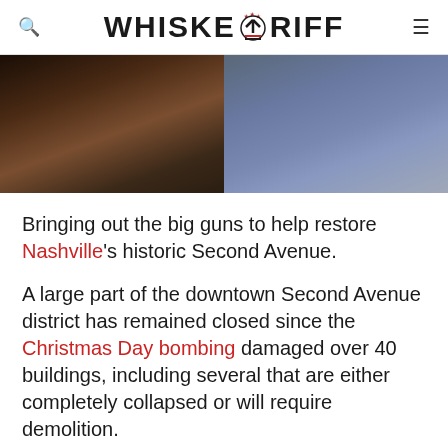WHISKEYRIFF
[Figure (photo): Hero image showing two people side by side: left side shows a person with dark curly hair and visible tattoos wearing a dark top, right side shows a person with beard wearing a blue t-shirt]
Bringing out the big guns to help restore Nashville's historic Second Avenue.
A large part of the downtown Second Avenue district has remained closed since the Christmas Day bombing damaged over 40 buildings, including several that are either completely collapsed or will require demolition.
Video Playlist